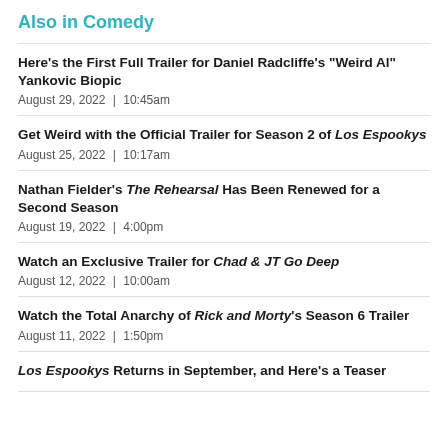Also in Comedy
Here's the First Full Trailer for Daniel Radcliffe's "Weird Al" Yankovic Biopic
August 29, 2022  |  10:45am
Get Weird with the Official Trailer for Season 2 of Los Espookys
August 25, 2022  |  10:17am
Nathan Fielder's The Rehearsal Has Been Renewed for a Second Season
August 19, 2022  |  4:00pm
Watch an Exclusive Trailer for Chad & JT Go Deep
August 12, 2022  |  10:00am
Watch the Total Anarchy of Rick and Morty's Season 6 Trailer
August 11, 2022  |  1:50pm
Los Espookys Returns in September, and Here's a Teaser